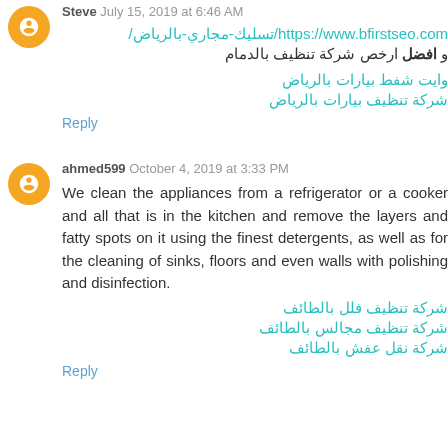Steve July 15, 2019 at 6:46 AM
https://www.bfirstseo.com/تسليك-مجاري-بالرياض/
و افضل ارخص شركة تنظيف بالدمام
وايت شفط بيارات بالرياض
شركة تنظيف بيارات بالرياض
Reply
ahmed599 October 4, 2019 at 3:33 PM
We clean the appliances from a refrigerator or a cooker and all that is in the kitchen and remove the layers and fatty spots on it using the finest detergents, as well as for the cleaning of sinks, floors and even walls with polishing and disinfection.
شركة تنظيف فلل بالطائف
شركة تنظيف مجالس بالطائف
شركة نقل عفش بالطائف
Reply